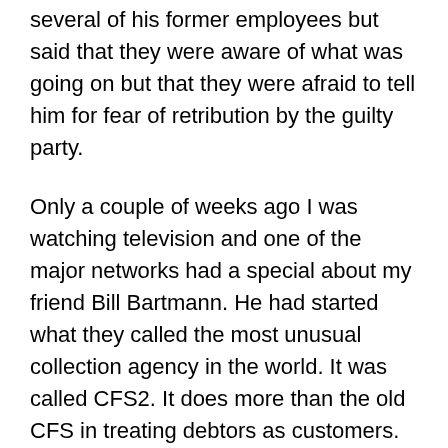several of his former employees but said that they were aware of what was going on but that they were afraid to tell him for fear of retribution by the guilty party.
Only a couple of weeks ago I was watching television and one of the major networks had a special about my friend Bill Bartmann. He had started what they called the most unusual collection agency in the world. It was called CFS2. It does more than the old CFS in treating debtors as customers. CFS2 offers a unique array of free services to those they are collecting from, including: employment assistance, credit specialists who negotiate reductions of other personal debt, resume writing, medical discounts and help accessing government assistance. An agent of CFS2 can get in trouble with Bartmann not by failing to collect debts